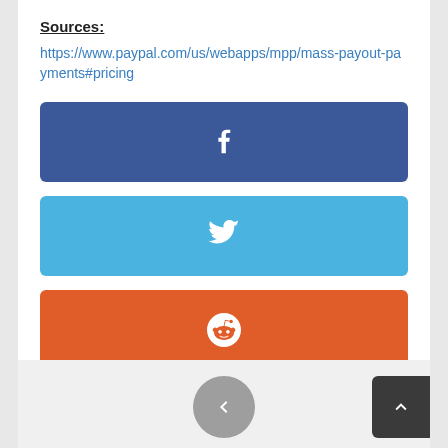Sources:
https://www.paypal.com/us/webapps/mpp/mass-payout-payments#pricing
[Figure (other): Facebook share button (blue rounded rectangle with white Facebook 'f' icon)]
[Figure (other): Twitter share button (light blue rounded rectangle with white Twitter bird icon)]
[Figure (other): Reddit share button (orange rounded rectangle with white Reddit alien icon)]
[Figure (other): Pinterest share button (red rounded rectangle with white Pinterest 'p' icon)]
[Figure (other): Navigation area with back (left chevron gray circle) and up (dark chevron) buttons]